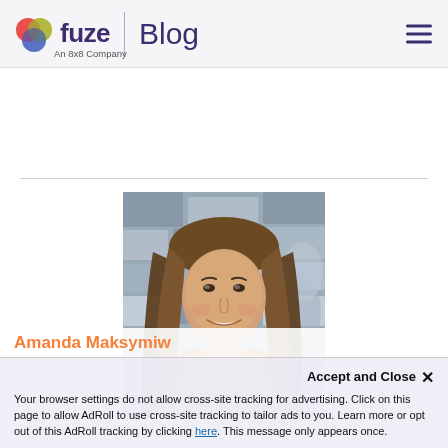fuze | Blog — An 8x8 Company
[Figure (photo): Profile photo of Amanda Maksymiw, a woman with long brown hair smiling, wearing a tan/brown jacket, in front of a stone wall background]
Amanda Maksymiw
Accept and Close ×
Your browser settings do not allow cross-site tracking for advertising. Click on this page to allow AdRoll to use cross-site tracking to tailor ads to you. Learn more or opt out of this AdRoll tracking by clicking here. This message only appears once.